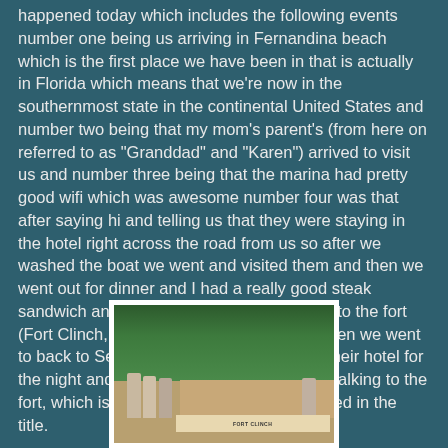happened today which includes the following events number one being us arriving in Fernandina beach which is the first place we have been in that is actually in Florida which means that we're now in the southernmost state in the continental United States and number two being that my mom's parent's (from here on referred to as "Granddad" and "Karen") arrived to visit us and number three being that the marina had pretty good wifi which was awesome number four was that after saying hi and telling us that they were staying in the hotel right across the road from us so after we washed the boat we went and visited them and then we went out for dinner and I had a really good steak sandwich and after that we decided to walk to the fort (Fort Clinch, nice place) the next day and then we went to back to SeaMorr and they went back to their hotel for the night and the next morning we started walking to the fort, which is indeed the walk that I mentioned in the title.
[Figure (photo): A photograph of people standing in front of a Fort Clinch sign with trees in the background]